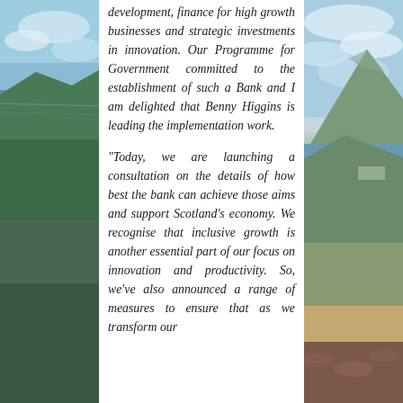[Figure (photo): Scottish highland landscape with sea loch on left side of page]
development, finance for high growth businesses and strategic investments in innovation. Our Programme for Government committed to the establishment of such a Bank and I am delighted that Benny Higgins is leading the implementation work.
"Today, we are launching a consultation on the details of how best the bank can achieve those aims and support Scotland's economy. We recognise that inclusive growth is another essential part of our focus on innovation and productivity. So, we've also announced a range of measures to ensure that as we transform our
[Figure (photo): Scottish highland landscape with mountains and sea loch on right side of page]